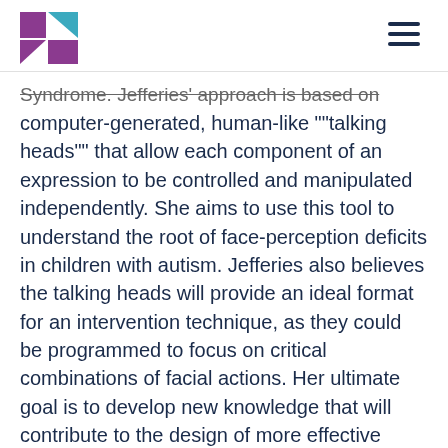[Logo and navigation menu]
Syndrome. Jefferies' approach is based on computer-generated, human-like ""talking heads"" that allow each component of an expression to be controlled and manipulated independently. She aims to use this tool to understand the root of face-perception deficits in children with autism. Jefferies also believes the talking heads will provide an ideal format for an intervention technique, as they could be programmed to focus on critical combinations of facial actions. Her ultimate goal is to develop new knowledge that will contribute to the design of more effective intervention and training to improve the social intelligence of individuals diagnosed with ASD.